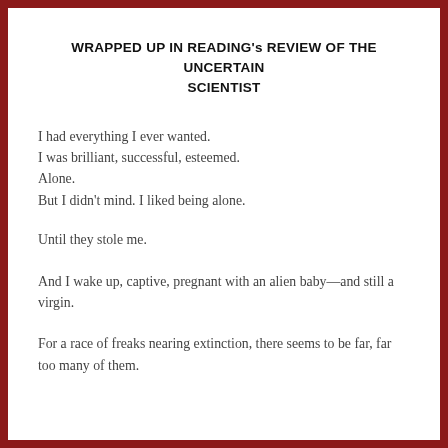WRAPPED UP IN READING's REVIEW OF THE UNCERTAIN SCIENTIST
I had everything I ever wanted.
I was brilliant, successful, esteemed.
Alone.
But I didn't mind. I liked being alone.
Until they stole me.
And I wake up, captive, pregnant with an alien baby—and still a virgin.
For a race of freaks nearing extinction, there seems to be far, far too many of them.